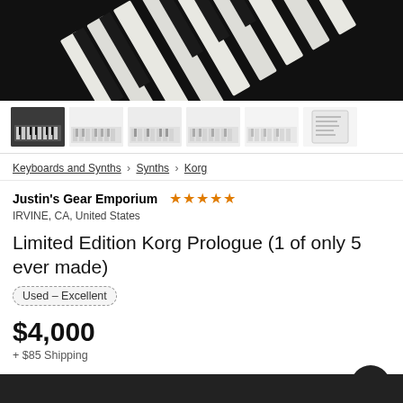[Figure (photo): Close-up photo of piano/synthesizer keys (black and white keys) viewed at an angle against a dark background]
[Figure (photo): Row of 6 thumbnail images of the synthesizer from different angles]
Keyboards and Synths > Synths > Korg
Justin's Gear Emporium ★★★★★
IRVINE, CA, United States
Limited Edition Korg Prologue (1 of only 5 ever made)
Used – Excellent
$4,000
+ $85 Shipping
It looks like that piece of gear is gone.